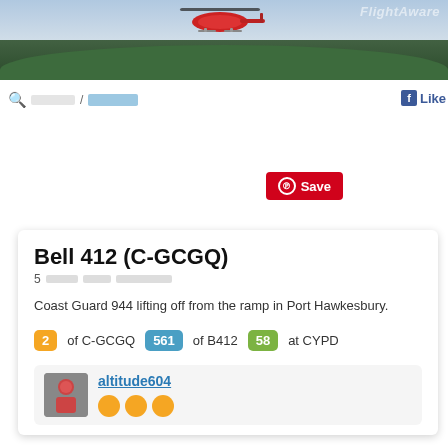[Figure (photo): Helicopter lifting off, with trees in background and FlightAware watermark]
🔍 ██████ / ██████
Save
Like
Bell 412 (C-GCGQ)
5 ████ ████ █████████
Coast Guard 944 lifting off from the ramp in Port Hawkesbury.
2 of C-GCGQ   561 of B412   58 at CYPD
altitude604